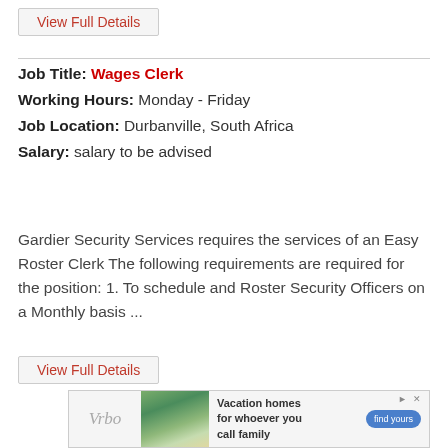View Full Details
Job Title: Wages Clerk
Working Hours: Monday - Friday
Job Location: Durbanville, South Africa
Salary: salary to be advised
Gardier Security Services requires the services of an Easy Roster Clerk The following requirements are required for the position: 1. To schedule and Roster Security Officers on a Monthly basis ...
View Full Details
[Figure (infographic): Vrbo vacation homes advertisement showing a mountain house, with text 'Vacation homes for whoever you call family' and a 'find yours' button.]